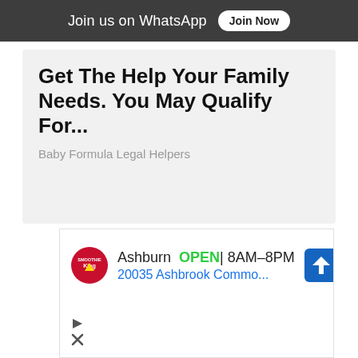Join us on WhatsApp  Join Now
Get The Help Your Family Needs. You May Qualify For...
Baby Formula Legal Helpers
[Figure (screenshot): Smoothie King advertisement banner showing Ashburn location open 8AM-8PM at 20035 Ashbrook Commo... with navigation icon]
Ashburn  OPEN | 8AM–8PM
20035 Ashbrook Commo...